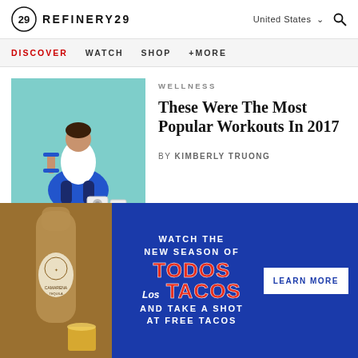REFINERY29 | United States
DISCOVER WATCH SHOP +MORE
[Figure (photo): Woman sitting on blue exercise ball holding blue dumbbells, with speakers nearby, on teal background]
WELLNESS
These Were The Most Popular Workouts In 2017
by KIMBERLY TRUONG
[Figure (photo): Advertisement: Camarena Tequila bottle with cocktail on left, blue background on right with text: WATCH THE NEW SEASON OF TODOS LOS TACOS AND TAKE A SHOT AT FREE TACOS, with LEARN MORE button]